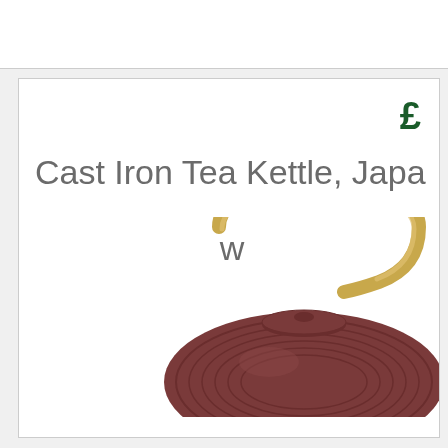£
Cast Iron Tea Kettle, Japa
w
[Figure (photo): A cast iron tea kettle with a gold/brass arched handle and dark reddish-brown ribbed body, partially visible from the top-right, cropped at the page edge.]